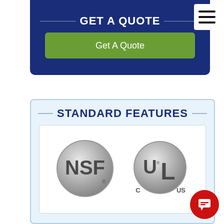GET A QUOTE
Get A Quote
STANDARD FEATURES
[Figure (logo): NSF certification logo — silver circular badge with NSF text and registered trademark symbol]
[Figure (logo): UL certification logo — silver circular badge with C UL US marking and registered trademark symbol]